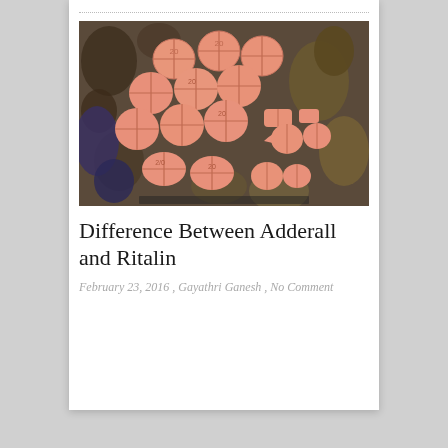[Figure (photo): A photograph of multiple orange/salmon-colored round tablets (Adderall pills) with score marks, scattered on a decorative surface.]
Difference Between Adderall and Ritalin
February 23, 2016 , Gayathri Ganesh , No Comment